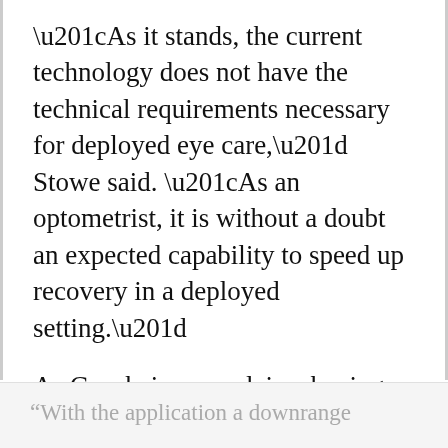“As it stands, the current technology does not have the technical requirements necessary for deployed eye care,” Stowe said. “As an optometrist, it is without a doubt an expected capability to speed up recovery in a deployed setting.”
As Gensheimer explains, having this type of technology downrange could ensure the readiness of service members, improving the chances they can return to duty much sooner.
“With the application a downrange